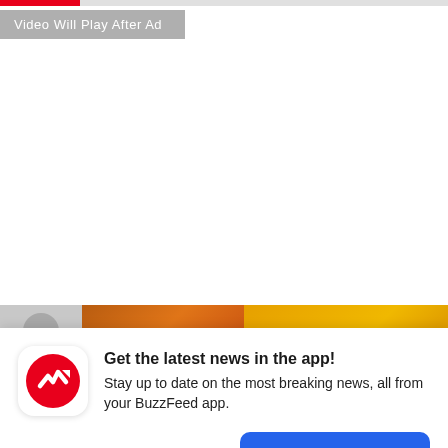[Figure (screenshot): Red progress bar at top of video player, partially filled]
Video Will Play After Ad
[Figure (photo): Thumbnail strip with three partially visible images at bottom of video area]
[Figure (logo): BuzzFeed app icon: red circle with white arrow trending upward]
Get the latest news in the app! Stay up to date on the most breaking news, all from your BuzzFeed app.
Maybe later
Get the app